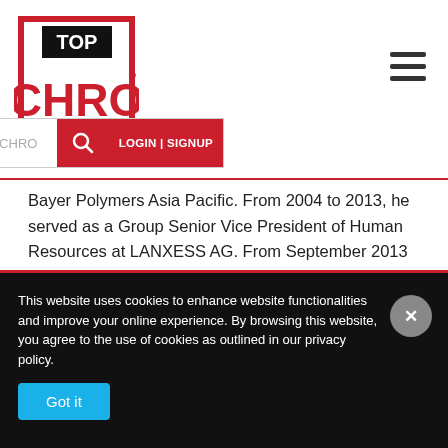[Figure (logo): TopCHRO logo — red shield shape with TOP in black box and CHRO in large red letters]
Bayer Polymers Asia Pacific. From 2004 to 2013, he served as a Group Senior Vice President of Human Resources at LANXESS AG. From September 2013 to June 2014, he served as Corporate Senior Vice President of Human Resources and Services at Beiersdorf AG.
This website uses cookies to enhance website functionalities and improve your online experience. By browsing this website, you agree to the use of cookies as outlined in our privacy policy.
Got it